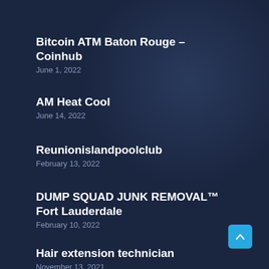Bitcoin ATM Baton Rouge – Coinhub
June 1, 2022
AM Heat Cool
June 14, 2022
Reunionislandpoolclub
February 13, 2022
DUMP SQUAD JUNK REMOVAL™ Fort Lauderdale
February 10, 2022
Hair extension technician
November 13, 2021